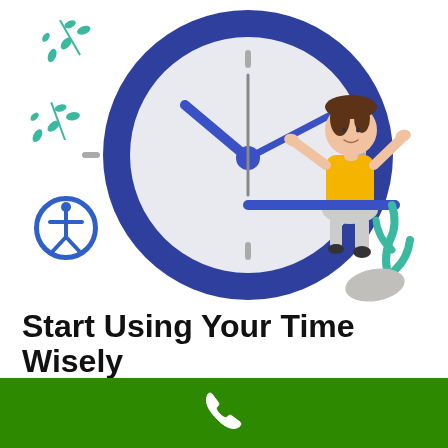[Figure (illustration): A large blue clock with a woman in a yellow top sitting on the clock hand, hands raised in a shrug gesture. Decorative green plant sprigs in upper left and lower right. Blue accessibility icon (person in circle) in lower left of illustration area.]
Start Using Your Time Wisely
[Figure (illustration): Green footer bar with white phone/call icon in center.]